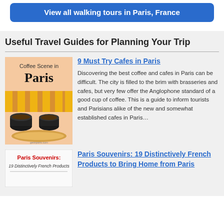[Figure (other): Blue button with white bold text: View all walking tours in Paris, France]
Useful Travel Guides for Planning Your Trip
[Figure (photo): Book cover: Coffee Scene in Paris — image of coffee cups and baguettes]
9 Must Try Cafes in Paris
Discovering the best coffee and cafes in Paris can be difficult. The city is filled to the brim with brasseries and cafes, but very few offer the Anglophone standard of a good cup of coffee. This is a guide to inform tourists and Parisians alike of the new and somewhat established cafes in Paris…
[Figure (photo): Book cover: Paris Souvenirs: 19 Distinctively French Products]
Paris Souvenirs: 19 Distinctively French Products to Bring Home from Paris